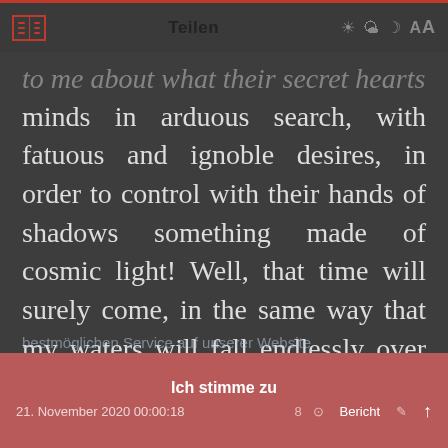Teilen
to me about what their secret hearts and minds in arduous search, with fatuous and ignoble desires, in order to control with their hands of shadows something made of cosmic light! Well, that time will surely come, in the same way that my waters will fall endlessly over that hill sooner or later, but for now let us remain as we just are, contemplating and loving our friendship and good neighborhood, watching the footsteps of those who chase us.
Ich stimme zu
21. November 2020 00:00:18   8   Bericht